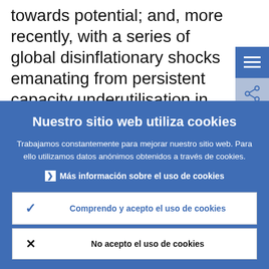towards potential; and, more recently, with a series of global disinflationary shocks emanating from persistent capacity underutilisation in advanced economies,
[Figure (screenshot): Two sidebar icon buttons: a hamburger menu icon (three horizontal lines) on a blue background, and a share icon on a lighter blue-grey background.]
Nuestro sitio web utiliza cookies
Trabajamos constantemente para mejorar nuestro sitio web. Para ello utilizamos datos anónimos obtenidos a través de cookies.
▶ Más información sobre el uso de cookies
✓ Comprendo y acepto el uso de cookies
✗ No acepto el uso de cookies